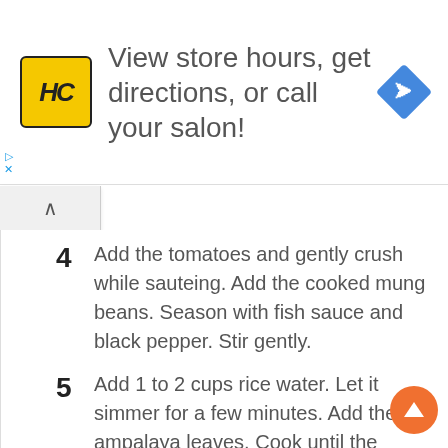[Figure (infographic): Advertisement banner with HC logo (yellow square with black HC letters), text 'View store hours, get directions, or call your salon!', and a blue diamond-shaped navigation arrow icon on the right.]
4  Add the tomatoes and gently crush while sauteing. Add the cooked mung beans. Season with fish sauce and black pepper. Stir gently.
5  Add 1 to 2 cups rice water. Let it simmer for a few minutes. Add the ampalaya leaves. Cook until the leaves wilt a little. Add the